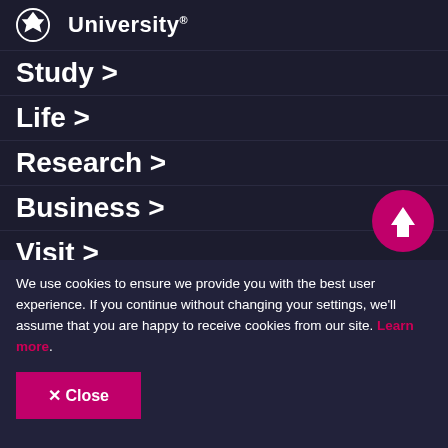[Figure (logo): University logo with shield icon and text 'University']
Study >
Life >
Research >
Business >
Visit >
We use cookies to ensure we provide you with the best user experience. If you continue without changing your settings, we'll assume that you are happy to receive cookies from our site. Learn more.
✕ Close